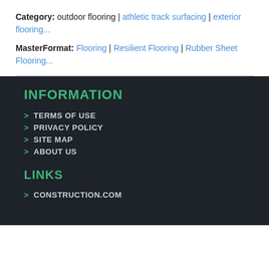Category: outdoor flooring | athletic track surfacing | exterior flooring...
MasterFormat: Flooring | Resilient Flooring | Rubber Sheet Flooring...
INFORMATION
> TERMS OF USE
> PRIVACY POLICY
> SITE MAP
> ABOUT US
LINKS
> CONSTRUCTION.COM